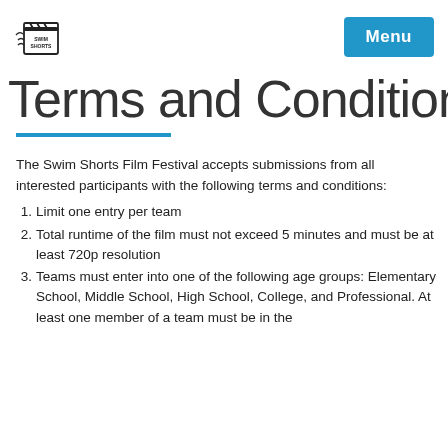Swim Shorts logo | Menu
Terms and Conditions
The Swim Shorts Film Festival accepts submissions from all interested participants with the following terms and conditions:
Limit one entry per team
Total runtime of the film must not exceed 5 minutes and must be at least 720p resolution
Teams must enter into one of the following age groups: Elementary School, Middle School, High School, College, and Professional. At least one member of a team must be in the